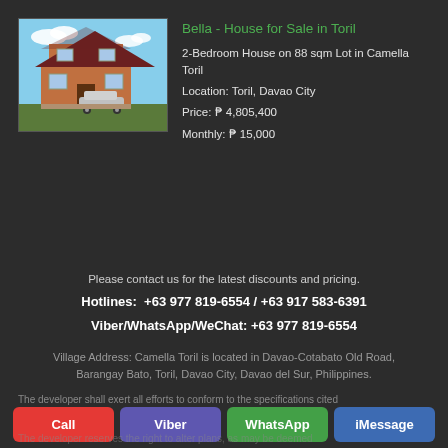[Figure (photo): Photo of a two-story house (Bella model) with brown exterior, white trim, and a car parked in front, blue sky background]
Bella - House for Sale in Toril
2-Bedroom House on 88 sqm Lot in Camella Toril
Location: Toril, Davao City
Price: ₱ 4,805,400
Monthly: ₱ 15,000
Please contact us for the latest discounts and pricing.
Hotlines:  +63 977 819-6554 / +63 917 583-6391
Viber/WhatsApp/WeChat: +63 977 819-6554
Village Address: Camella Toril is located in Davao-Cotabato Old Road, Barangay Bato, Toril, Davao City, Davao del Sur, Philippines.
The developer shall exert all efforts to conform to the specifications cited
The developer reserves the right to alter plans, as may be deemed